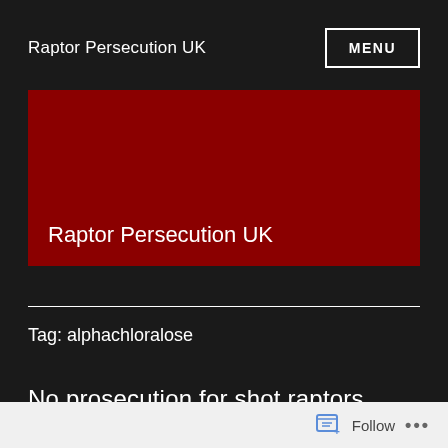Raptor Persecution UK
[Figure (other): Dark red banner with site title 'Raptor Persecution UK' in white text]
Raptor Persecution UK
Tag: alphachloralose
No prosecution for shot raptors found
Follow ...